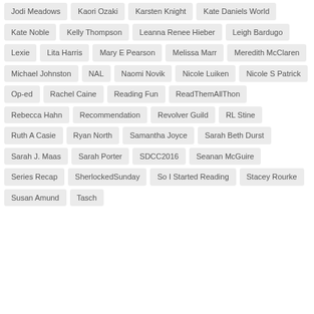Jodi Meadows
Kaori Ozaki
Karsten Knight
Kate Daniels World
Kate Noble
Kelly Thompson
Leanna Renee Hieber
Leigh Bardugo
Lexie
Lita Harris
Mary E Pearson
Melissa Marr
Meredith McClaren
Michael Johnston
NAL
Naomi Novik
Nicole Luiken
Nicole S Patrick
Op-ed
Rachel Caine
Reading Fun
ReadThemAllThon
Rebecca Hahn
Recommendation
Revolver Guild
RL Stine
Ruth A Casie
Ryan North
Samantha Joyce
Sarah Beth Durst
Sarah J. Maas
Sarah Porter
SDCC2016
Seanan McGuire
Series Recap
SherlockedSunday
So I Started Reading
Stacey Rourke
Susan Amund
Tasch